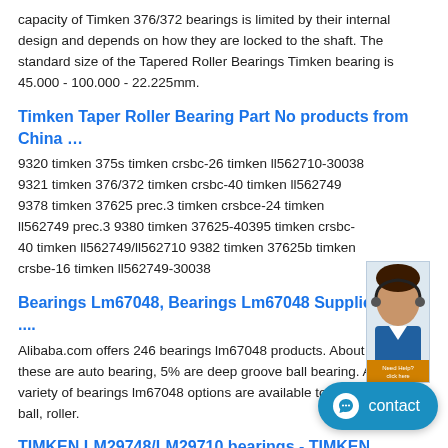capacity of Timken 376/372 bearings is limited by their internal design and depends on how they are locked to the shaft. The standard size of the Tapered Roller Bearings Timken bearing is 45.000 - 100.000 - 22.225mm.
Timken Taper Roller Bearing Part No products from China …
9320 timken 375s timken crsbc-26 timken ll562710-30038 9321 timken 376/372 timken crsbc-40 timken ll562749 9378 timken 37625 prec.3 timken crsbce-24 timken ll562749 prec.3 9380 timken 37625-40395 timken crsbc-40 timken ll562749/ll562710 9382 timken 37625b timken crsbe-16 timken ll562749-30038
Bearings Lm67048, Bearings Lm67048 Suppliers and ....
Alibaba.com offers 246 bearings lm67048 products. About 8% of these are auto bearing, 5% are deep groove ball bearing. A wide variety of bearings lm67048 options are available to you, such as ball, roller.
TIMKEN LM29748/LM29710 bearings - TIMKEN BEARING ....
TIMKEN LM29748/LM29710 bearings characteristics and application□. TIMKEN company is the world's leading tapered roller bearings manufacturer. The tapered roller bearings made by TIMKEN always have the highest standards of quality and performance.
[NACHI BT206 bearing in Monaco] - BearingBearing - Best ....